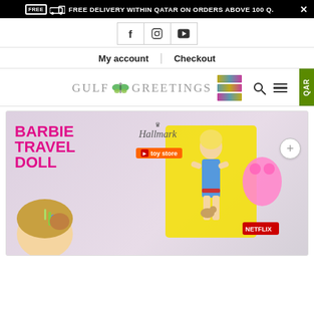FREE DELIVERY WITHIN QATAR ON ORDERS ABOVE 100 Q.
[Figure (screenshot): Social media icons row: Facebook, Instagram, YouTube]
My account | Checkout
[Figure (logo): Gulf Greetings logo with butterfly icon and gift card images]
[Figure (photo): Product listing image: Barbie Travel Doll with Hallmark toy store branding on purple/lavender background. Text reads BARBIE TRAVEL DOLL in hot pink. Shows doll packaging and child.]